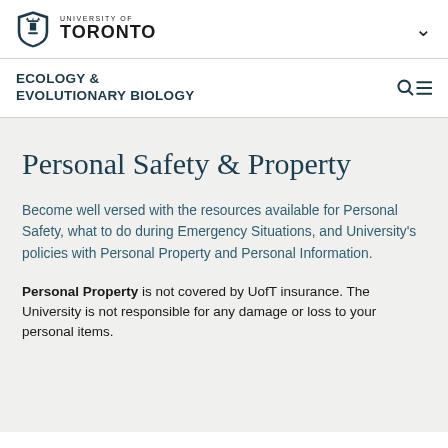[Figure (logo): University of Toronto shield logo with 'UNIVERSITY OF TORONTO' text]
ECOLOGY &
EVOLUTIONARY BIOLOGY
Personal Safety & Property
Become well versed with the resources available for Personal Safety, what to do during Emergency Situations, and University's policies with Personal Property and Personal Information.
Personal Property is not covered by UofT insurance. The University is not responsible for any damage or loss to your personal items.